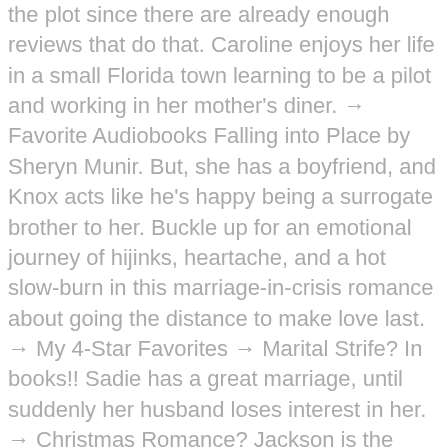the plot since there are already enough reviews that do that. Caroline enjoys her life in a small Florida town learning to be a pilot and working in her mother's diner. → Favorite Audiobooks Falling into Place by Sheryn Munir. But, she has a boyfriend, and Knox acts like he's happy being a surrogate brother to her. Buckle up for an emotional journey of hijinks, heartache, and a hot slow-burn in this marriage-in-crisis romance about going the distance to make love last. → My 4-Star Favorites → Marital Strife? In books!! Sadie has a great marriage, until suddenly her husband loses interest in her. → Christmas Romance? Jackson is the captain of a hockey team who is interested in his sport more than anything else, so when the owner of the team suggests a reality television show, Jackson is very hesitant. You're in luck. A sweet love story between an alpha male and a woman who is unconvinced her heart will ever be able to love again. When you buy through links on our site, we may earn an affiliate commission at no additional cost to you. But, was he really? A heartwarming tale, this story revolves